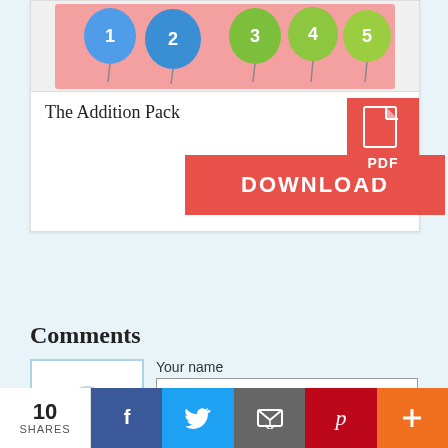[Figure (illustration): Numbered balloons 1-5: two blue balloons (1,2) and three green balloons (3,4,5) on a pink/salmon background]
The Addition Pack
[Figure (other): Red PDF icon with document and 'PDF' text]
DOWNLOAD
Comments
Your name
[Figure (other): Avatar placeholder icon in light blue border box]
Subject
10 SHARES